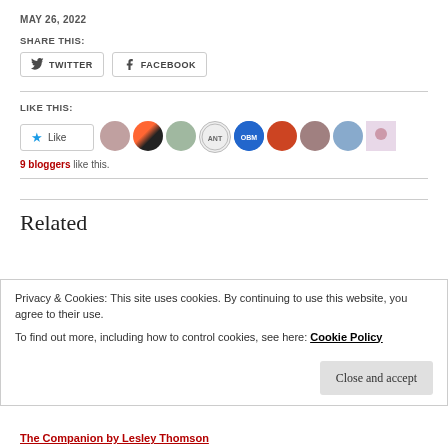MAY 26, 2022
SHARE THIS:
TWITTER  FACEBOOK
LIKE THIS:
[Figure (illustration): Like button with star icon followed by 9 blogger avatar images]
9 bloggers like this.
Related
Privacy & Cookies: This site uses cookies. By continuing to use this website, you agree to their use.
To find out more, including how to control cookies, see here: Cookie Policy
Close and accept
The Companion by Lesley Thomson